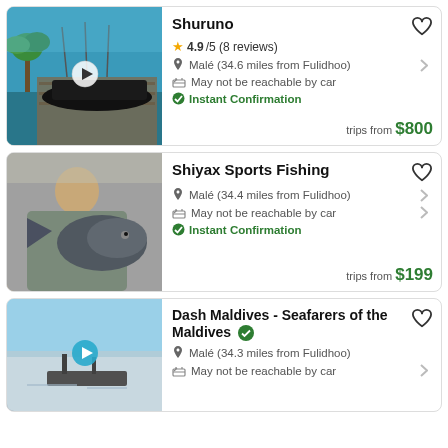[Figure (photo): Photo of fishing boats docked at a tropical pier with palm trees and turquoise water]
Shuruno
★ 4.9/5 (8 reviews)
📍 Malé (34.6 miles from Fulidhoo)
🚗 May not be reachable by car
✔ Instant Confirmation
trips from $800
[Figure (photo): Photo of a man holding a large fish, smiling]
Shiyax Sports Fishing
📍 Malé (34.4 miles from Fulidhoo)
🚗 May not be reachable by car
✔ Instant Confirmation
trips from $199
[Figure (photo): Photo of a boat on open sea with sky, partial view]
Dash Maldives - Seafarers of the Maldives ✔
📍 Malé (34.3 miles from Fulidhoo)
🚗 May not be reachable by car